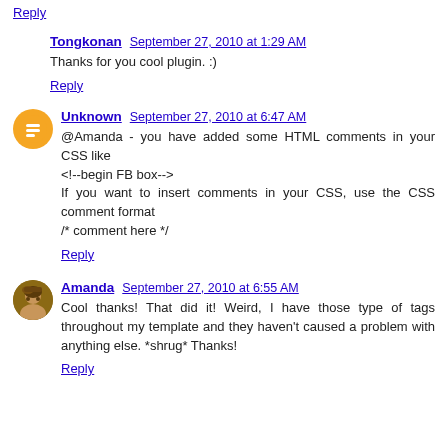Reply
Tongkonan  September 27, 2010 at 1:29 AM
Thanks for you cool plugin. :)
Reply
Unknown  September 27, 2010 at 6:47 AM
@Amanda - you have added some HTML comments in your CSS like
<!--begin FB box-->
If you want to insert comments in your CSS, use the CSS comment format
/* comment here */
Reply
Amanda  September 27, 2010 at 6:55 AM
Cool thanks! That did it! Weird, I have those type of tags throughout my template and they haven't caused a problem with anything else. *shrug* Thanks!
Reply